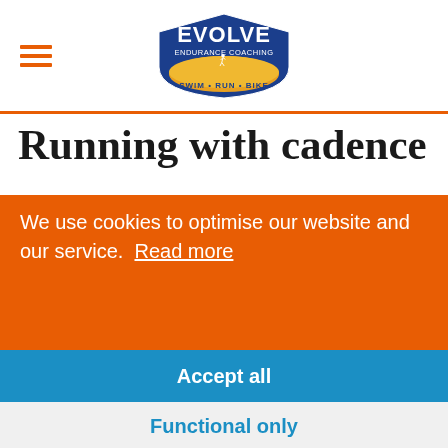[Figure (logo): Evolve Endurance Coaching logo - blue shield with yellow runner figure, text EVOLVE ENDURANCE COACHING, SWIM RUN BIKE]
Running with cadence
We use cookies to optimise our website and our service.  Read more
Accept all
Functional only
View preferences
If you don't train with the cadence then